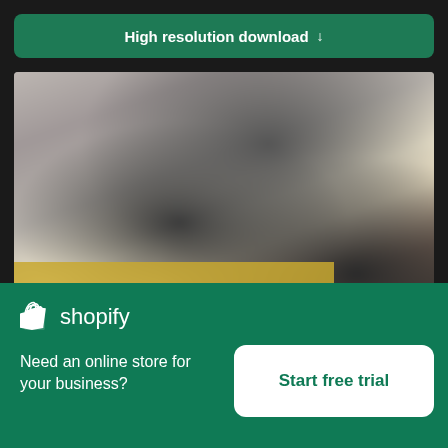[Figure (screenshot): Green download button with text 'High resolution download' and a downward arrow, on dark background]
[Figure (photo): Blurred photo of a person holding over-ear headphones near a train platform with a yellow safety strip]
×
[Figure (logo): Shopify logo — shopping bag icon with 'shopify' wordmark in white on green background]
Need an online store for your business?
Start free trial